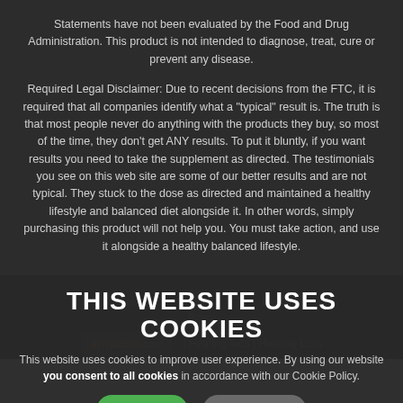Statements have not been evaluated by the Food and Drug Administration. This product is not intended to diagnose, treat, cure or prevent any disease.
Required Legal Disclaimer: Due to recent decisions from the FTC, it is required that all companies identify what a "typical" result is. The truth is that most people never do anything with the products they buy, so most of the time, they don't get ANY results. To put it bluntly, if you want results you need to take the supplement as directed. The testimonials you see on this web site are some of our better results and are not typical. They stuck to the dose as directed and maintained a healthy lifestyle and balanced diet alongside it. In other words, simply purchasing this product will not help you. You must take action, and use it alongside a healthy balanced lifestyle.
© Audience... | Returns Policy | amazon.com | Hearing Aids | Hearing Loss
THIS WEBSITE USES COOKIES
This website uses cookies to improve user experience. By using our website you consent to all cookies in accordance with our Cookie Policy.